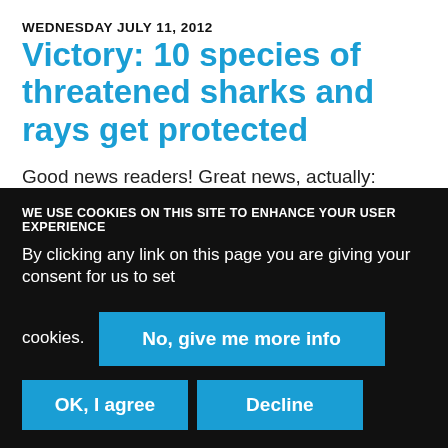WEDNESDAY JULY 11, 2012
Victory: 10 species of threatened sharks and rays get protected
Good news readers! Great news, actually: Yesterday, EU has finally voted in favour of strictly protecting ten threatened species of sharks and rays in the Mediterranean Sea, under the Barcelona Convention. These species, including hammerheads, tope, and shortfin mako, have
WE USE COOKIES ON THIS SITE TO ENHANCE YOUR USER EXPERIENCE
By clicking any link on this page you are giving your consent for us to set cookies.
No, give me more info
OK, I agree
Decline